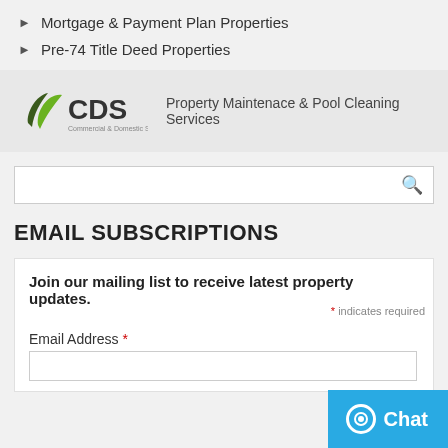Mortgage & Payment Plan Properties
Pre-74 Title Deed Properties
[Figure (logo): CDS Commercial & Domestic Services Ltd logo with green leaf icons]
Property Maintenace & Pool Cleaning Services
Search input box with magnifying glass icon
EMAIL SUBSCRIPTIONS
Join our mailing list to receive latest property updates.
* indicates required
Email Address *
Chat